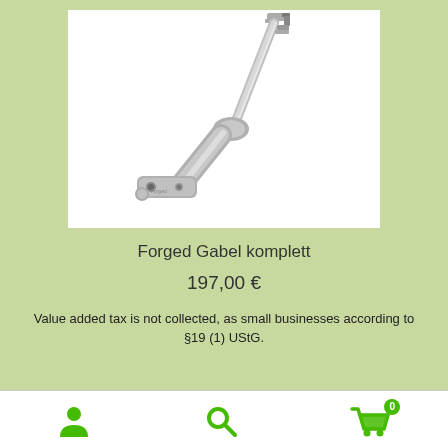[Figure (photo): Photo of a silver/chrome forged bicycle fork component (Forged Gabel komplett) on white background]
Forged Gabel komplett
197,00 €
Value added tax is not collected, as small businesses according to §19 (1) UStG.
[Figure (infographic): Bottom navigation bar with three green icons: person/account icon, search magnifying glass icon, and shopping cart icon with badge showing 0]